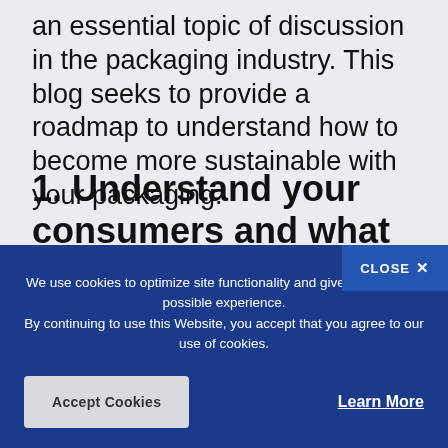an essential topic of discussion in the packaging industry. This blog seeks to provide a roadmap to understand how to become more sustainable with your packaging.
1. Understand your consumers and what they are looking for from brands
We use cookies to optimize site functionality and give you the best possible experience.
By continuing to use this Website, you accept that you agree to our use of cookies.